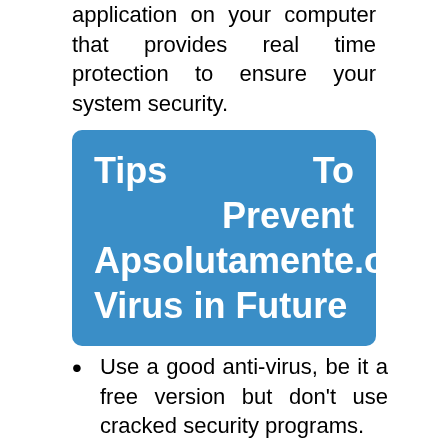application on your computer that provides real time protection to ensure your system security.
Tips To Prevent Apsolutamente.org Virus in Future
Use a good anti-virus, be it a free version but don't use cracked security programs.
Make sure that your Windows firewall is active, so it can block upcoming threats.
Keep your Windows OS and other programs updated to avoid vulnerabilities.
Download updates only from official